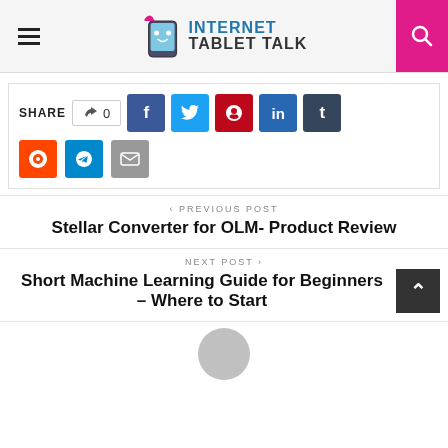INTERNET TABLET TALK
[Figure (infographic): Social share buttons row: thumbs up 0, Facebook, Twitter, Pinterest, LinkedIn, Tumblr, Reddit, Telegram, Email]
< PREVIOUS POST
Stellar Converter for OLM- Product Review
NEXT POST >
Short Machine Learning Guide for Beginners – Where to Start